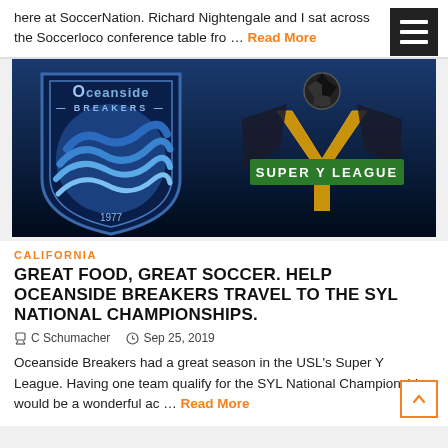here at SoccerNation. Richard Nightengale and I sat across the Soccerloco conference table fro … Read More
[Figure (logo): Oceanside Breakers soccer club logo (shield shape, blue with wave design, founded 1977) next to Super Y League logo (gold Y shape with soccer ball, green banner) on a dark blue/black background]
CALIFORNIA
GREAT FOOD, GREAT SOCCER. HELP OCEANSIDE BREAKERS TRAVEL TO THE SYL NATIONAL CHAMPIONSHIPS.
C Schumacher   Sep 25, 2019
Oceanside Breakers had a great season in the USL's Super Y League. Having one team qualify for the SYL National Championships would be a wonderful ac … Read More